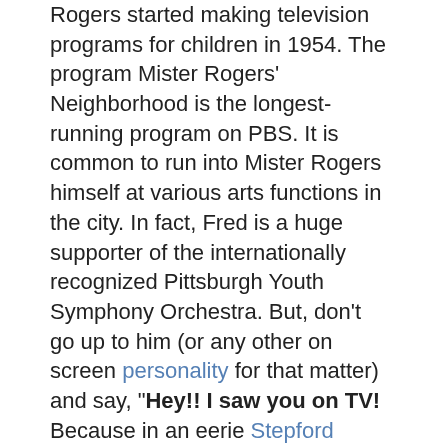Rogers started making television programs for children in 1954. The program Mister Rogers' Neighborhood is the longest-running program on PBS. It is common to run into Mister Rogers himself at various arts functions in the city. In fact, Fred is a huge supporter of the internationally recognized Pittsburgh Youth Symphony Orchestra. But, don't go up to him (or any other on screen personality for that matter) and say, "Hey!! I saw you on TV! Because in an eerie Stepford Wives kind of way each, and every one of them will respond: "And now, I get to see you!" However, The Neighborhood off screen is rumored to